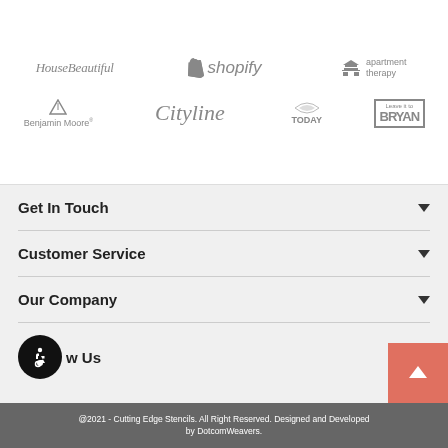[Figure (logo): Brand logos in grayscale: HouseBeautiful, Shopify, apartment therapy, Benjamin Moore, Cityline, TODAY, Leave it to Bryan]
Get In Touch
Customer Service
Our Company
Follow Us
@2021 - Cutting Edge Stencils. All Right Reserved. Designed and Developed by DotcomWeavers.